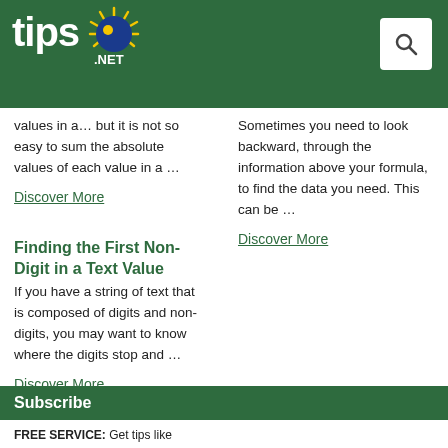tips.net
values in a… but it is not so easy to sum the absolute values of each value in a …
Discover More
Sometimes you need to look backward, through the information above your formula, to find the data you need. This can be …
Discover More
Finding the First Non-Digit in a Text Value
If you have a string of text that is composed of digits and non-digits, you may want to know where the digits stop and …
Discover More
Subscribe
FREE SERVICE: Get tips like